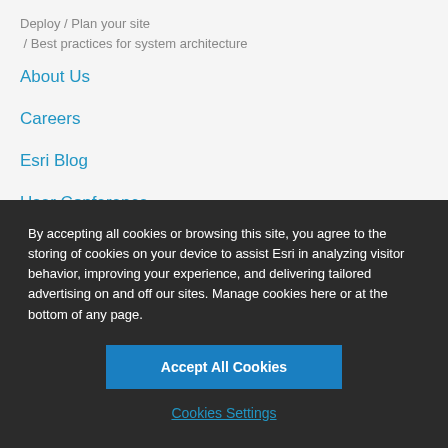Deploy / Plan your site / Best practices for system architecture
About Us
Careers
Esri Blog
User Conference
By accepting all cookies or browsing this site, you agree to the storing of cookies on your device to assist Esri in analyzing visitor behavior, improving your experience, and delivering tailored advertising on and off our sites. Manage cookies here or at the bottom of any page.
Accept All Cookies
Cookies Settings